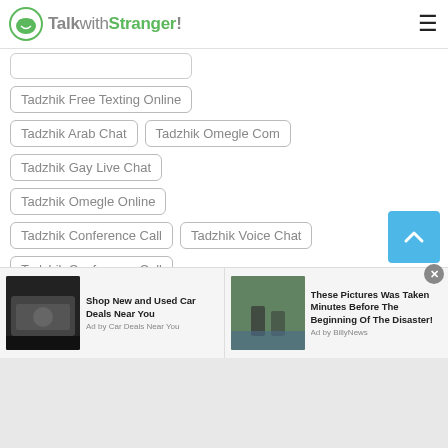TalkwithStranger!
Tadzhik Free Texting Online
Tadzhik Arab Chat
Tadzhik Omegle Com
Tadzhik Gay Live Chat
Tadzhik Omegle Online
Tadzhik Conference Call
Tadzhik Voice Chat
Tadzhik Conference Call
Tadzhik Free International Calls
Tadzhik Voice Call
Tadzhik Prank Call
[Figure (screenshot): Advertisement banner with two ad items: 'Shop New and Used Car Deals Near You' by Car Deals Near You, and 'These Pictures Was Taken Minutes Before The Beginning Of The Disaster!' by BillyNews]